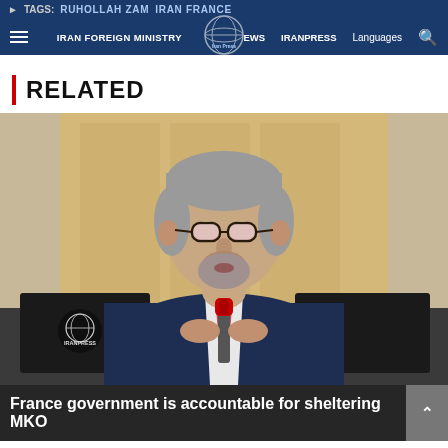TAGS: RUHOLLAH ZAM IRAN FRANCE
IRAN FOREIGN MINISTRY  IRAN NEWS  IRANPRESS  Languages
RELATED
[Figure (photo): A man in a dark blue suit with glasses speaking at a microphone in what appears to be an official government or parliamentary setting. He has gray hair and a beard, and is seated in front of a wooden paneled backdrop. An IRANPRESS watermark logo is visible in the lower left.]
France government is accountable for sheltering MKO